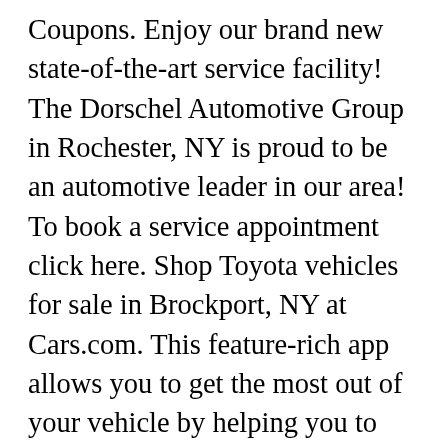Coupons. Enjoy our brand new state-of-the-art service facility! The Dorschel Automotive Group in Rochester, NY is proud to be an automotive leader in our area! To book a service appointment click here. Shop Toyota vehicles for sale in Brockport, NY at Cars.com. This feature-rich app allows you to get the most out of your vehicle by helping you to maintain and organize essential car details like service history, as well as save money with mobile offers and coupons! Dorschel Kia | (888) 281-0262 3817 W Henrietta Rd | Rochester, NY 14623. Enjoy our brand new state-of-the-art service facility! Toyota Service Coupons and Discounts | Toyota Owners. You can get the best discount of up